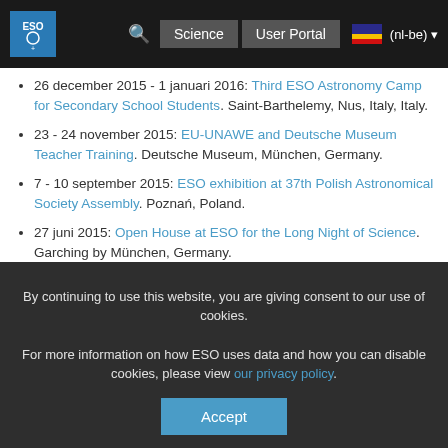ESO | Science | User Portal | (nl-be)
26 december 2015 - 1 januari 2016: Third ESO Astronomy Camp for Secondary School Students. Saint-Barthelemy, Nus, Italy, Italy.
23 - 24 november 2015: EU-UNAWE and Deutsche Museum Teacher Training. Deutsche Museum, München, Germany.
7 - 10 september 2015: ESO exhibition at 37th Polish Astronomical Society Assembly. Poznań, Poland.
27 juni 2015: Open House at ESO for the Long Night of Science. Garching by München, Germany.
22 - 26 juni 2015: ESO exhibition at the The European Week of Astronomy and Space Science (EWASS). La Laguna, Tenerife, Canary Islands, Spain.
18 - 19 juni 2015: Workshop on public awareness of large scale facilities - Expectations - Experiences - Examples.
By continuing to use this website, you are giving consent to our use of cookies.
For more information on how ESO uses data and how you can disable cookies, please view our privacy policy.